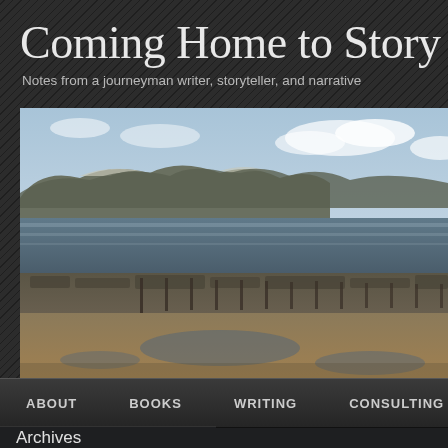Coming Home to Story
Notes from a journeyman writer, storyteller, and narrative
[Figure (photo): Coastal landscape photograph showing a beach at low tide with rocky outcroppings, sandy shore with tidal pools, the sea in the middle ground, and white chalk cliffs or headlands in the background under a partly cloudy sky.]
ABOUT  BOOKS  WRITING  CONSULTING  STORY
Archives